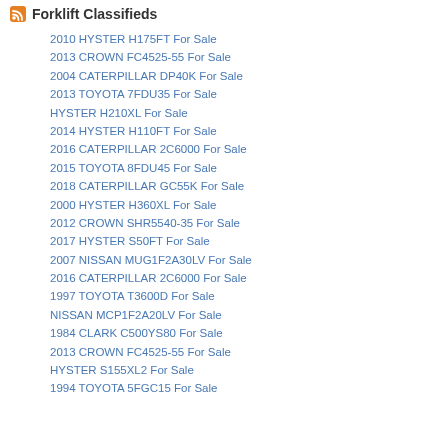Forklift Classifieds
2010 HYSTER H175FT For Sale
2013 CROWN FC4525-55 For Sale
2004 CATERPILLAR DP40K For Sale
2013 TOYOTA 7FDU35 For Sale
HYSTER H210XL For Sale
2014 HYSTER H110FT For Sale
2016 CATERPILLAR 2C6000 For Sale
2015 TOYOTA 8FDU45 For Sale
2018 CATERPILLAR GC55K For Sale
2000 HYSTER H360XL For Sale
2012 CROWN SHR5540-35 For Sale
2017 HYSTER S50FT For Sale
2007 NISSAN MUG1F2A30LV For Sale
2016 CATERPILLAR 2C6000 For Sale
1997 TOYOTA T3600D For Sale
NISSAN MCP1F2A20LV For Sale
1984 CLARK C500YS80 For Sale
2013 CROWN FC4525-55 For Sale
HYSTER S155XL2 For Sale
1994 TOYOTA 5FGC15 For Sale